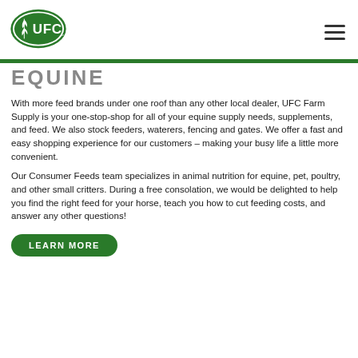UFC Farm Supply logo and navigation menu
EQUINE
With more feed brands under one roof than any other local dealer, UFC Farm Supply is your one-stop-shop for all of your equine supply needs, supplements, and feed. We also stock feeders, waterers, fencing and gates. We offer a fast and easy shopping experience for our customers – making your busy life a little more convenient.
Our Consumer Feeds team specializes in animal nutrition for equine, pet, poultry, and other small critters. During a free consolation, we would be delighted to help you find the right feed for your horse, teach you how to cut feeding costs, and answer any other questions!
LEARN MORE